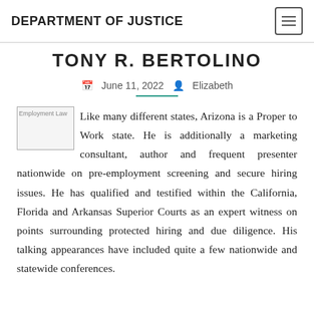DEPARTMENT OF JUSTICE
TONY R. BERTOLINO
June 11, 2022  Elizabeth
[Figure (illustration): Employment Law image placeholder]
Like many different states, Arizona is a Proper to Work state. He is additionally a marketing consultant, author and frequent presenter nationwide on pre-employment screening and secure hiring issues. He has qualified and testified within the California, Florida and Arkansas Superior Courts as an expert witness on points surrounding protected hiring and due diligence. His talking appearances have included quite a few nationwide and statewide conferences.